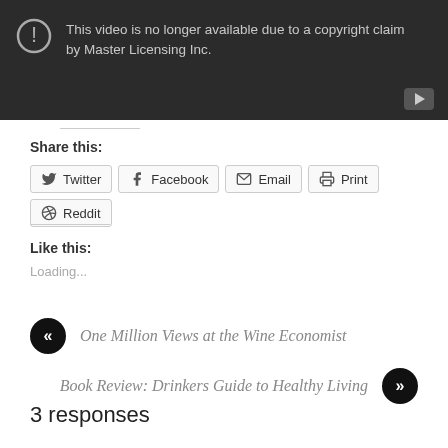[Figure (screenshot): YouTube video unavailable error screen with dark background showing exclamation icon and text: 'This video is no longer available due to a copyright claim by Master Licensing Inc.' with YouTube play button icon in bottom right]
Share this:
Twitter  Facebook  Email  Print  Reddit
Like this:
Loading...
One Million Views at the Wine Economist
Book Review: Drinkers Guide to Healthy Living
3 responses